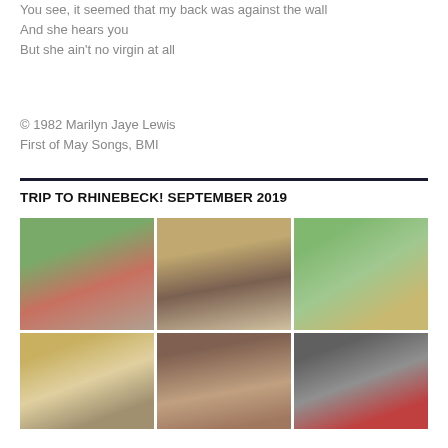You see, it seemed that my back was against the wall
And she hears you
But she ain't no virgin at all
© 1982 Marilyn Jaye Lewis
First of May Songs, BMI
TRIP TO RHINEBECK! SEPTEMBER 2019
[Figure (photo): Grid of 6 photographs from a trip to Rhinebeck in September 2019. Top row: photo of a pink building with red barn and green trees, photo of a woman with white hair wearing a graphic t-shirt, photo of a porch/street scene with trees. Bottom row: photo of a kitchen/dining room interior, photo of a bedroom interior, photo of a person holding a red object.]